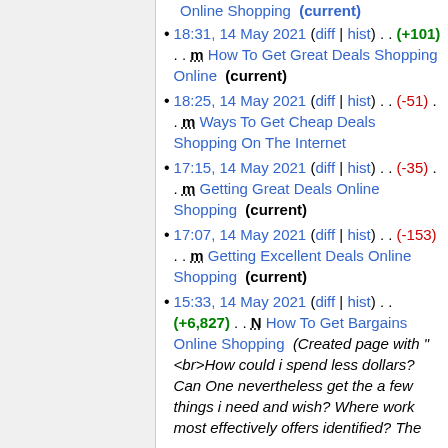Online Shopping (current)
18:31, 14 May 2021 (diff | hist) . . (+101) . . m How To Get Great Deals Shopping Online (current)
18:25, 14 May 2021 (diff | hist) . . (-51) . . m Ways To Get Cheap Deals Shopping On The Internet
17:15, 14 May 2021 (diff | hist) . . (-35) . . m Getting Great Deals Online Shopping (current)
17:07, 14 May 2021 (diff | hist) . . (-153) . . m Getting Excellent Deals Online Shopping (current)
15:33, 14 May 2021 (diff | hist) . . (+6,827) . . N How To Get Bargains Online Shopping (Created page with "<br>How could i spend less dollars? Can One nevertheless get the a few things i need and wish? Where work most effectively offers identified? The